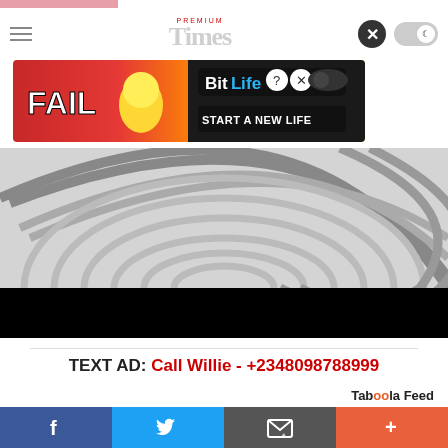[Figure (screenshot): Pink top bar, navigation header with hamburger menu, Premium Times logo, close button and toggle switch]
[Figure (photo): BitLife advertisement banner with FAIL text, cartoon character, and START A NEW LIFE tagline]
[Figure (illustration): Concentric spiral/maze graphic on grey background with black bar below]
TEXT AD: Call Willie - +2348098788999
[Figure (logo): Taboola Feed logo]
[Figure (photo): Bottom image strip showing sky with antenna/tower silhouettes]
[Figure (infographic): Social sharing bar with Facebook, Twitter, email and more buttons]